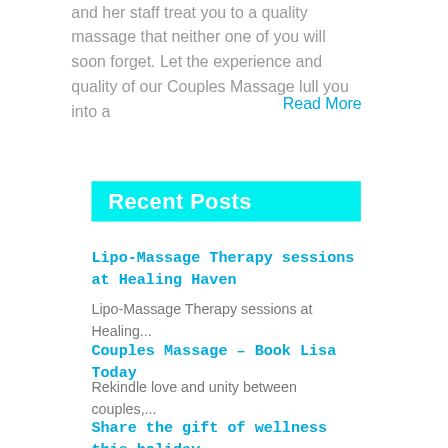and her staff treat you to a quality massage that neither one of you will soon forget. Let the experience and quality of our Couples Massage lull you into a
Read More
Recent Posts
Lipo-Massage Therapy sessions at Healing Haven
Lipo-Massage Therapy sessions at Healing...
Couples Massage – Book Lisa Today
Rekindle love and unity between couples,...
Share the gift of wellness this holiday